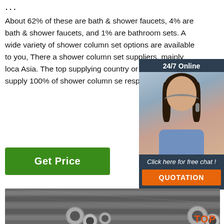...
About 62% of these are bath & shower faucets, 4% are bath & shower faucets, and 1% are bathroom sets. A wide variety of shower column set options are available to you, There a shower column set suppliers, mainly loca Asia. The top supplying country or region which supply 100% of shower column se respectively.
[Figure (photo): Customer service representative with headset, dark hair, blue shirt. 24/7 Online chat widget with 'Click here for free chat!' text and QUOTATION button.]
Get Price
[Figure (photo): Steel pipes stacked together, industrial setting, with TOP logo in bottom right corner.]